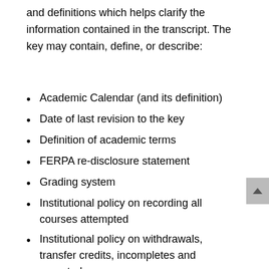and definitions which helps clarify the information contained in the transcript. The key may contain, define, or describe:
Academic Calendar (and its definition)
Date of last revision to the key
Definition of academic terms
FERPA re-disclosure statement
Grading system
Institutional policy on recording all courses attempted
Institutional policy on withdrawals, transfer credits, incompletes and repeated courses
Method of certification as an official transcript (card stock used, embossed seal, etc.)
Method of GPA calculation
Warning against alteration or forgery